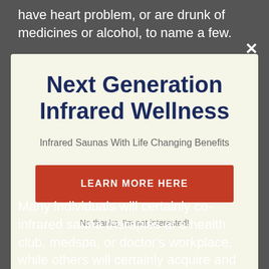have heart problem, or are drunk of medicines or alcohol, to name a few.
Next Generation Infrared Wellness
Infrared Saunas With Life Changing Benefits
LEARN MORE HERE
No thanks, I'm not interested!
Many individuals will certainly co-infrared sauna therapies at a health club, medspa, or doctor's workplace, while others will certainly acquire and